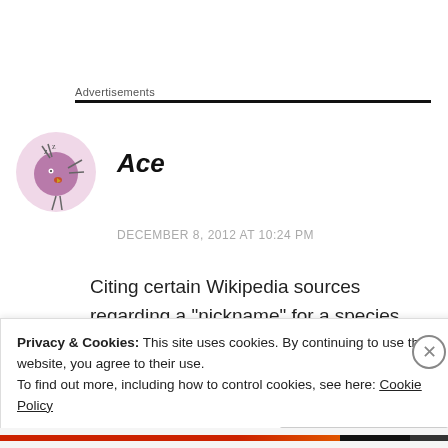Advertisements
Ace
DECEMBER 8, 2012 AT 10:24 PM
Citing certain Wikipedia sources regarding a “nickname” for a species isn’t very proper, but I understand where you’re going with all this. I
Privacy & Cookies: This site uses cookies. By continuing to use this website, you agree to their use.
To find out more, including how to control cookies, see here: Cookie Policy
Close and accept